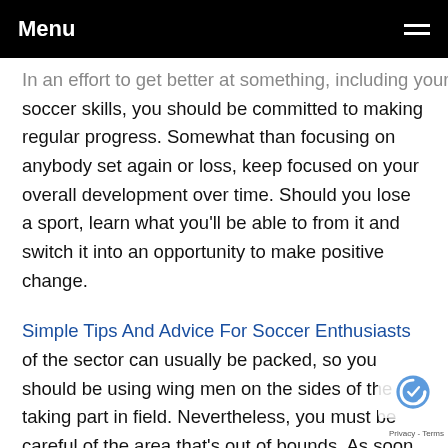Menu
In an effort to get better at something, including your soccer skills, you should be committed to making regular progress. Somewhat than focusing on anybody set again or loss, keep focused on your overall development over time. Should you lose a sport, learn what you'll be able to from it and switch it into an opportunity to make positive change.
Simple Tips And Advice For Soccer Enthusiasts of the sector can usually be packed, so you should be using wing men on the sides of the taking part in field. Nevertheless, you must be careful of the area that's out of bounds. As soon as you use the wing males, you'll be able to push the ball again to the center in